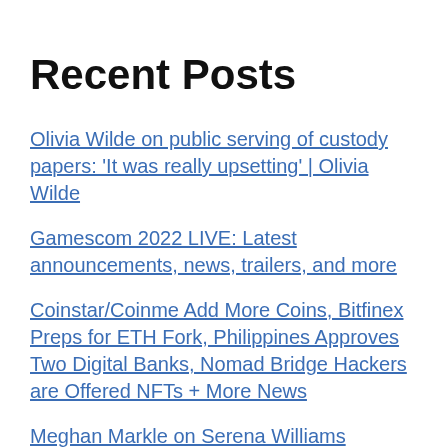Recent Posts
Olivia Wilde on public serving of custody papers: ‘It was really upsetting’ | Olivia Wilde
Gamescom 2022 LIVE: Latest announcements, news, trailers, and more
Coinstar/Coinme Add More Coins, Bitfinex Preps for ETH Fork, Philippines Approves Two Digital Banks, Nomad Bridge Hackers are Offered NFTs + More News
Meghan Markle on Serena Williams comparisons: ‘I’m not from Compton’
Women dance in solidarity with Finnish Prime Minister Sanna Marin